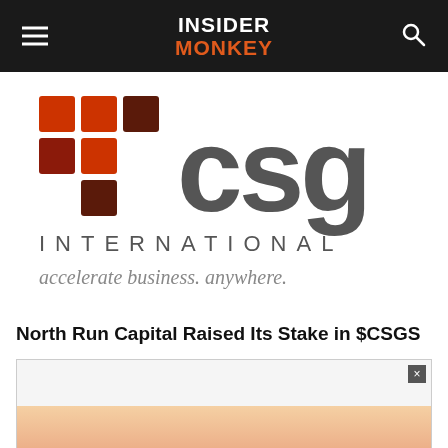Insider Monkey
[Figure (logo): CSG International logo — colored grid of squares (red and dark red) on the left, large 'csg' text in dark gray on the right, 'INTERNATIONAL' in spaced gray capitals below, and tagline 'accelerate business. anywhere.' in gray italic below that]
North Run Capital Raised Its Stake in $CSGS
[Figure (other): Partially visible advertisement box with a close (x) button in the top right corner and partial image content at the bottom]